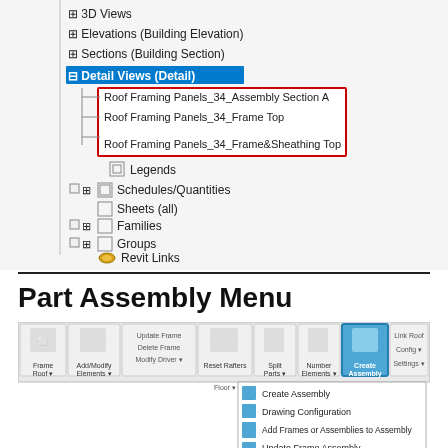[Figure (screenshot): Revit project browser tree showing: 3D Views, Elevations (Building Elevation), Sections (Building Section), Detail Views (Detail) expanded with three items highlighted in red box: 'Roof Framing Panels_34_Assembly Section A', 'Roof Framing Panels_34_Frame Top', 'Roof Framing Panels_34_Frame&Sheathing Top'. Also Legends, Schedules/Quantities, Sheets (all), Families, Groups, Revit Links.]
Part Assembly Menu
[Figure (screenshot): Revit ribbon toolbar showing Part Assembly menu options including: Frame Roof, Add/Modify Elements, Update Frame, Delete Frame, Modify Driver, Reset Rafters, Split Parts, Number Elements, Create Assembly (highlighted), Link Roof, Config, Settings. A dropdown is open from Create Assembly showing: Create Assembly, Drawing Configuration, Add Frames or Assemblies to Assembly, Update Frame Assembly, Disassemble Assembly, Calculate Assembly Dimensions.]